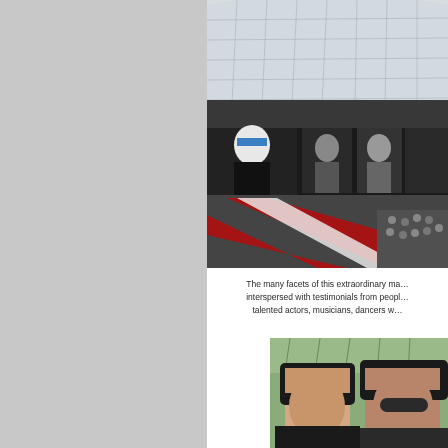[Figure (photo): Interior of a grand glass-roofed hall (Grand Palais style) with large photographic portraits displayed on screens/panels, a striped runway floor with red and white stripes, and a crowd of people seated in the background. A person in black and white appears on a large screen.]
The many facets of this extraordinary ma… interspersed with testimonials from peopl… talented actors, musicians, dancers w…
[Figure (photo): Two women standing together, cropped at chin level, inside the grand glass-roofed hall visible in the background.]